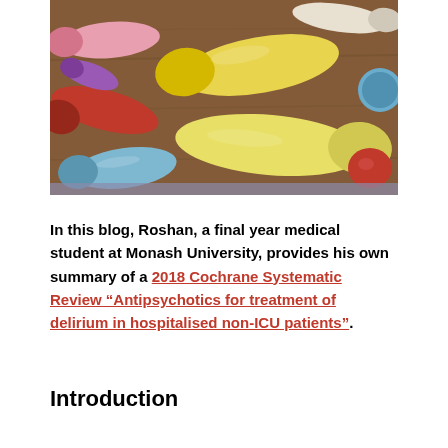[Figure (photo): Close-up photo of colorful medication capsules and pills (yellow, red, pink, blue, white, cream) scattered on a wooden surface]
In this blog, Roshan, a final year medical student at Monash University, provides his own summary of a 2018 Cochrane Systematic Review “Antipsychotics for treatment of delirium in hospitalised non-ICU patients”.
Introduction